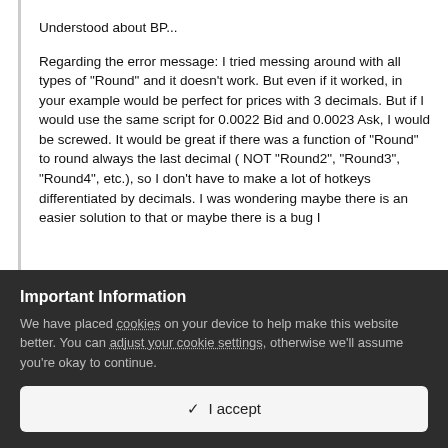Understood about BP...
Regarding the error message: I tried messing around with all types of "Round" and it doesn't work. But even if it worked, in your example would be perfect for prices with 3 decimals. But if I would use the same script for 0.0022 Bid and 0.0023 Ask, I would be screwed. It would be great if there was a function of "Round" to round always the last decimal ( NOT "Round2", "Round3", "Round4", etc.), so I don't have to make a lot of hotkeys differentiated by decimals. I was wondering maybe there is an easier solution to that or maybe there is a bug I
Important Information
We have placed cookies on your device to help make this website better. You can adjust your cookie settings, otherwise we'll assume you're okay to continue.
✓  I accept